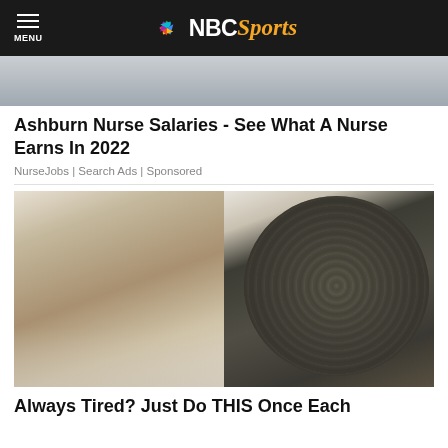NBC Sports
[Figure (photo): Partial photo of people at top of page, cropped]
Ashburn Nurse Salaries - See What A Nurse Earns In 2022
NurseJobs | Search Ads | Sponsored
[Figure (photo): Split image: left side shows older man in suit pointing right; right side shows food cooking in a dark pan]
Always Tired? Just Do THIS Once Each